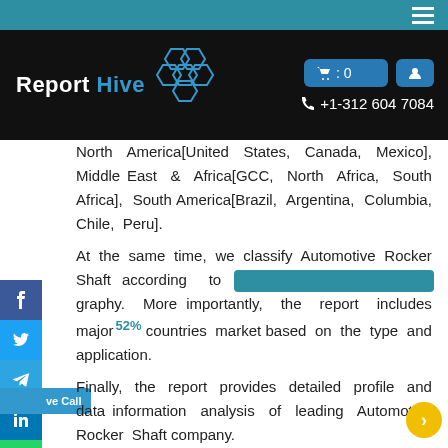Report Hive | +1-312 604 7084
North America[United States, Canada, Mexico], Middle East & Africa[GCC, North Africa, South Africa], South America[Brazil, Argentina, Columbia, Chile, Peru].
At the same time, we classify Automotive Rocker Shaft according to [redacted] graphy. More importantly, the report includes major countries market based on the type and application.
Finally, the report provides detailed profile and data information analysis of leading Automotive Rocker Shaft company.
Key Content of Chapters as follows (Including and can be customized) :
Part 1:
Market Overview, Development, and Segment by Type,